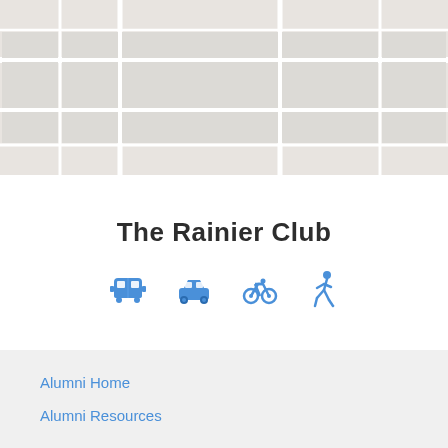[Figure (map): Gray map background area showing a street map in light gray tones]
The Rainier Club
[Figure (infographic): Four blue transportation icons: bus, car, bicycle, and pedestrian/walking figure]
Alumni Home
Alumni Resources